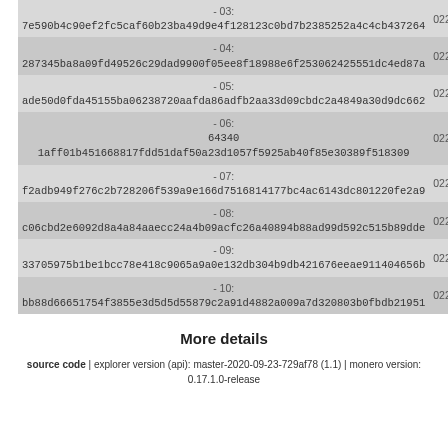| Hash / Data | Number |
| --- | --- |
| -03:
7e590b4c90ef2fc5caf60b23ba49d9e4f128123c0bd7b2385252a4c4cb437264 | 02252929 |
| -04:
287345ba8a09fd49526c29dad9900f05ee8f18988e6f253062425551dc4ed87a | 02253099 |
| -05:
ade50d0fda45155ba06238720aafda86adfb2aa33d09cbdc2a4849a30d9dc662 | 02253175 |
| -06:
64340 1aff01b451668817fdd51daf50a23d1057f5925ab40f85e30389f518309 | 02253349 |
| -07:
f2adb949f276c2b728206f539a9e166d7516814177bc4ac6143dc801220fe2a9 | 02253359 |
| -08:
c06cbd2e6092d8a4a84aaecc24a4b09acfc26a40894b88ad99d592c515b89dde | 02253391 |
| -09:
33705975b1be1bcc78e418c9065a9a0e132db304b9db421676eeae911404656b | 02253391 |
| -10:
bb88d66651754f3855e3d5d5d55879c2a91d4882a009a7d320803b0fbdb21951 | 02253463 |
More details
source code | explorer version (api): master-2020-09-23-729af78 (1.1) | monero version: 0.17.1.0-release